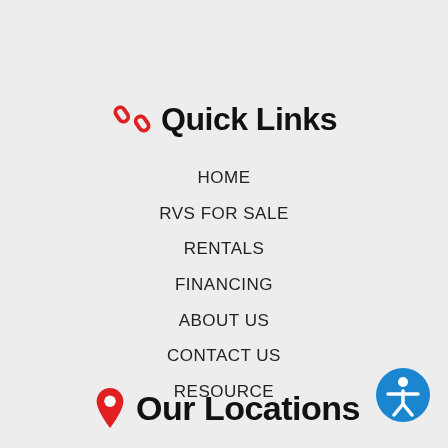Quick Links
HOME
RVS FOR SALE
RENTALS
FINANCING
ABOUT US
CONTACT US
RESOURCE
Our Locations